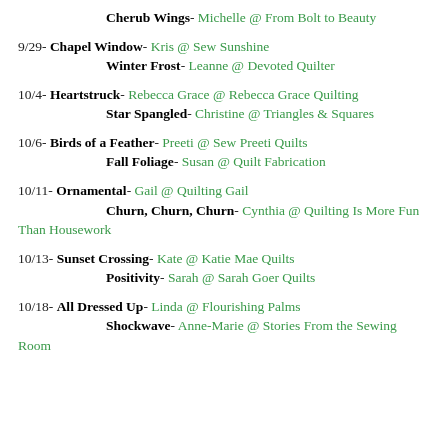Cherub Wings- Michelle @ From Bolt to Beauty
9/29- Chapel Window- Kris @ Sew Sunshine
      Winter Frost- Leanne @ Devoted Quilter
10/4- Heartstruck- Rebecca Grace @ Rebecca Grace Quilting
       Star Spangled- Christine @ Triangles & Squares
10/6- Birds of a Feather- Preeti @ Sew Preeti Quilts
       Fall Foliage- Susan @ Quilt Fabrication
10/11- Ornamental- Gail @ Quilting Gail
        Churn, Churn, Churn- Cynthia @ Quilting Is More Fun Than Housework
10/13- Sunset Crossing- Kate @ Katie Mae Quilts
        Positivity- Sarah @ Sarah Goer Quilts
10/18- All Dressed Up- Linda @ Flourishing Palms
        Shockwave- Anne-Marie @ Stories From the Sewing Room